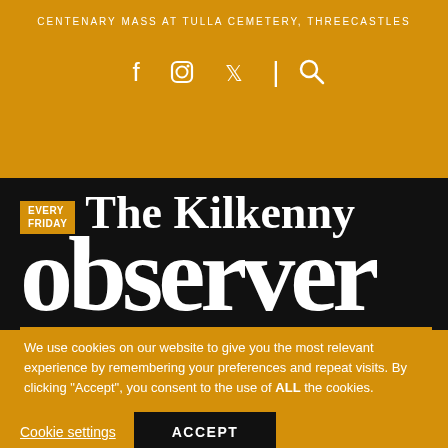CENTENARY MASS AT TULLA CEMETERY, THREECASTLES
[Figure (logo): The Kilkenny Observer newspaper logo with 'EVERY FRIDAY' badge, large serif masthead reading 'The Kilkenny Observer', orange horizontal rule, and text '10,000 COPIES PRINTED AND DISTRIBUTED']
We use cookies on our website to give you the most relevant experience by remembering your preferences and repeat visits. By clicking “Accept”, you consent to the use of ALL the cookies.
Cookie settings
ACCEPT